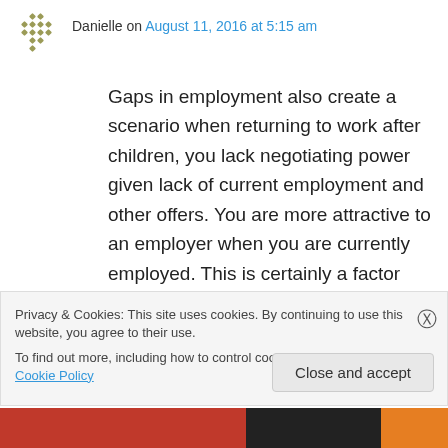[Figure (other): Avatar icon — decorative grid/snowflake pattern in olive/gold tones]
Danielle on August 11, 2016 at 5:15 am
Gaps in employment also create a scenario when returning to work after children, you lack negotiating power given lack of current employment and other offers. You are more attractive to an employer when you are currently employed. This is certainly a factor beyond the manager divide. And you may be taking a salary backward step due to the employer's view that your skills and knowledge have faded during
Privacy & Cookies: This site uses cookies. By continuing to use this website, you agree to their use.
To find out more, including how to control cookies, see here: Cookie Policy
Close and accept